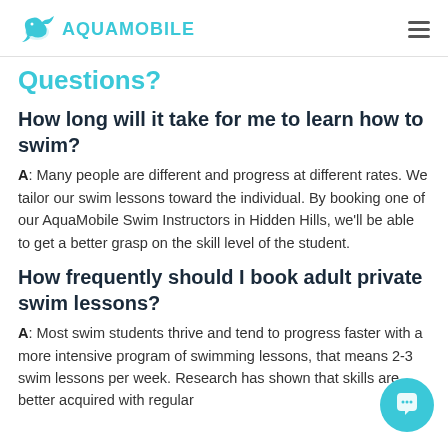AQUAMOBILE
Questions?
How long will it take for me to learn how to swim?
A: Many people are different and progress at different rates. We tailor our swim lessons toward the individual. By booking one of our AquaMobile Swim Instructors in Hidden Hills, we'll be able to get a better grasp on the skill level of the student.
How frequently should I book adult private swim lessons?
A: Most swim students thrive and tend to progress faster with a more intensive program of swimming lessons, that means 2-3 swim lessons per week. Research has shown that skills are better acquired with regular